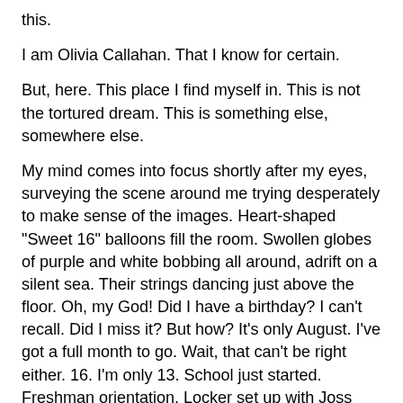this.
I am Olivia Callahan. That I know for certain.
But, here. This place I find myself in. This is not the tortured dream. This is something else, somewhere else.
My mind comes into focus shortly after my eyes, surveying the scene around me trying desperately to make sense of the images. Heart-shaped "Sweet 16" balloons fill the room. Swollen globes of purple and white bobbing all around, adrift on a silent sea. Their strings dancing just above the floor. Oh, my God! Did I have a birthday? I can't recall. Did I miss it? But how? It's only August. I've got a full month to go. Wait, that can't be right either. 16. I'm only 13. School just started. Freshman orientation. Locker set up with Joss and Maura. That weird chat with Kirsty.
My mind struggles to make a connection. This is a bedroom. My bedroom. Yes, the room is mine, familiar yet somehow different. Everywhere vases are bursting with flowers, big yellow sunflowers. They are my favorite and the reason I painted my room this sunny never turned off color.